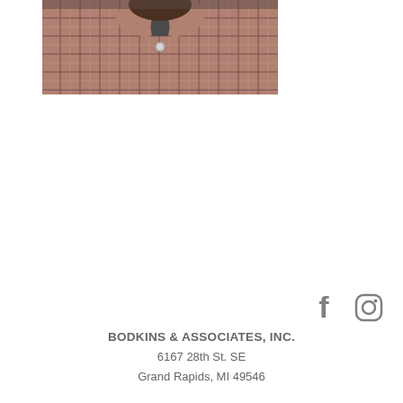[Figure (photo): Cropped photo showing the collar and upper chest area of a person wearing a red/pink plaid button-down shirt with a dark tie visible at the collar]
[Figure (logo): Facebook and Instagram social media icons in gray]
BODKINS & ASSOCIATES, INC.
6167 28th St. SE
Grand Rapids, MI 49546